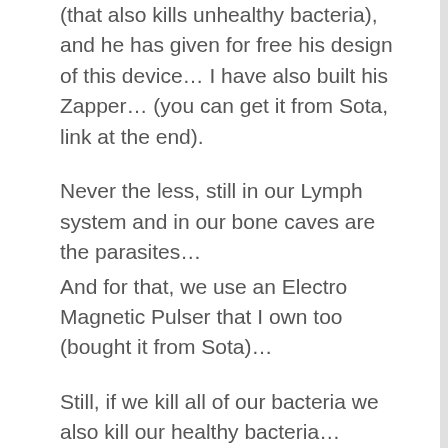(that also kills unhealthy bacteria), and he has given for free his design of this device… I have also built his Zapper… (you can get it from Sota, link at the end).
Never the less, still in our Lymph system and in our bone caves are the parasites…
And for that, we use an Electro Magnetic Pulser that I own too (bought it from Sota)…
Still, if we kill all of our bacteria we also kill our healthy bacteria…
What to do??????
Eat probiotic as fermented vegetables 3 times a day when you use this Zapper or Electro Magnetic Pulser…
That is crucial; otherwise your immune system is getting